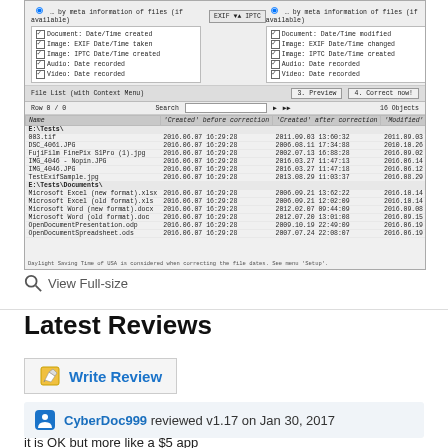[Figure (screenshot): Screenshot of a file date correction software showing file list with 'Created' before and after correction columns and 'Modified' column. Shows files from E:\Tests\ and E:\Tests\Documents\ directories with timestamps. Has toolbar with Preview and Correct now! buttons, and a search row. Footer says 'Daylight Saving Time of USA is considered when correcting the file dates. See menu Setup'.]
View Full-size
Latest Reviews
Write Review
CyberDoc999 reviewed v1.17 on Jan 30, 2017
it is OK but more like a $5 app